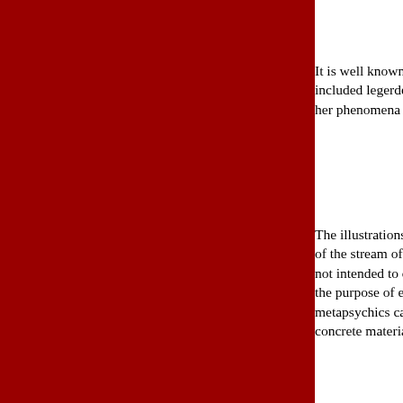such confidence was ever well founded.
It is well known that Eusapia Palladino has been frequently caught in fraud, and it is said that her early training included legerdemain. Sitters have recognized in her an adept in conjuring. Those scientists who report favorably upon her phenomena recognize that the weight of their evidence depends upon the impossibility of fraud.
The illustrations of suspicious circumstances of fraud that are brought together here constitute but a very small fraction of the stream of negative evidence that without doubt supports the persistent incredulity of official science. They are not intended to offer a means of estimating the full weight of all the negative evidence. Rather, they were chosen for the purpose of explaining. why official science hesitates to accept the favoring results of investigations in metapsychics carried out by the most eminent scientists - such as Crookes, Lodge, and Richet - and of providing some concrete material for use in the constructive intimations of this exposition.
What weight has Crookes's report on the phenomena of Kate Fox? Of Home? Of Miss Cook? The rating by official science is probably just zero. The Zöllner report on Henry Slade is also, even more positively rated at zero. The various ment...